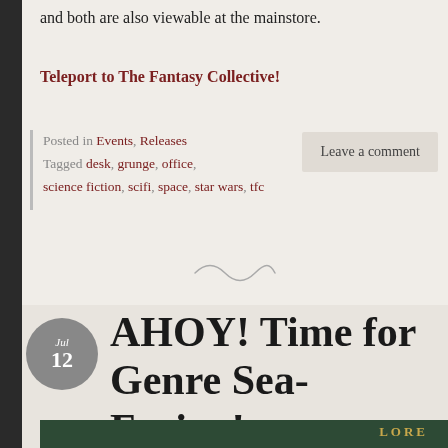and both are also viewable at the mainstore.
Teleport to The Fantasy Collective!
Posted in Events, Releases
Tagged desk, grunge, office, science fiction, scifi, space, star wars, tfc
Leave a comment
AHOY! Time for Genre Sea-Faring!
[Figure (photo): Bottom image strip showing a dark green background with 'LORE' text in gold letters]